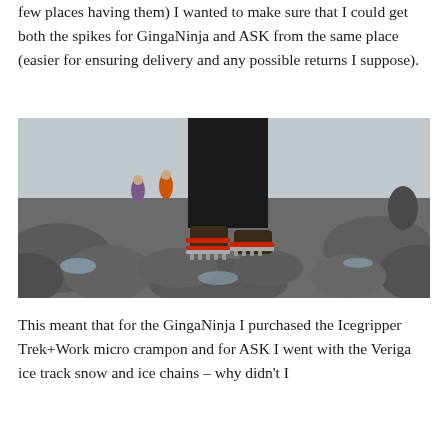few places having them) I wanted to make sure that I could get both the spikes for GingaNinja and ASK from the same place (easier for ensuring delivery and any possible returns I suppose).
[Figure (photo): A person wearing hiking boots fitted with red and silver ice crampons/ice grips, standing on rocky, icy terrain. Other hikers are visible in the misty background.]
This meant that for the GingaNinja I purchased the Icegripper Trek+Work micro crampon and for ASK I went with the Veriga ice track snow and ice chains – why didn't I